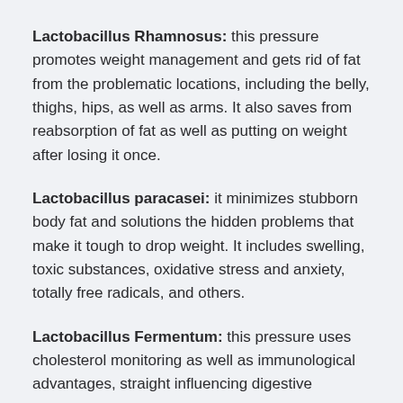Lactobacillus Rhamnosus: this pressure promotes weight management and gets rid of fat from the problematic locations, including the belly, thighs, hips, as well as arms. It also saves from reabsorption of fat as well as putting on weight after losing it once.
Lactobacillus paracasei: it minimizes stubborn body fat and solutions the hidden problems that make it tough to drop weight. It includes swelling, toxic substances, oxidative stress and anxiety, totally free radicals, and others.
Lactobacillus Fermentum: this pressure uses cholesterol monitoring as well as immunological advantages, straight influencing digestive...